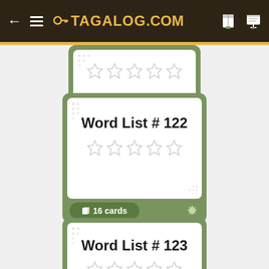TAGALOG.COM
[Figure (other): Flashcard with 5 empty stars and 16 cards button]
[Figure (other): Flashcard Word List #122 with 5 empty stars and 16 cards button]
[Figure (other): Flashcard Word List #123 partially visible]